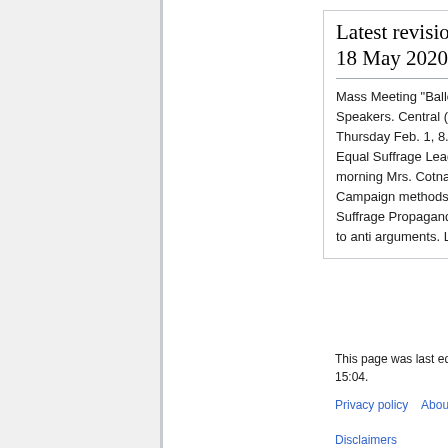Latest revision as of 15:04, 18 May 2020
Mass Meeting "Ballots for Both." National Speakers. Central (Y.M.C.A. Auditorium Thursday Feb. 1, 8.15 P.M. Public invited. Equal Suffrage League of Virginia. Tuesday morning Mrs. Cotnam: Press & Publicity. Campaign methods. Suffrage & Anti Suffrage Propaganda Make news in answer to anti arguments. Letters from bulletins.
This page was last edited on 18 May 2020, at 15:04.
Privacy policy   About Transcribe Wiki
Disclaimers